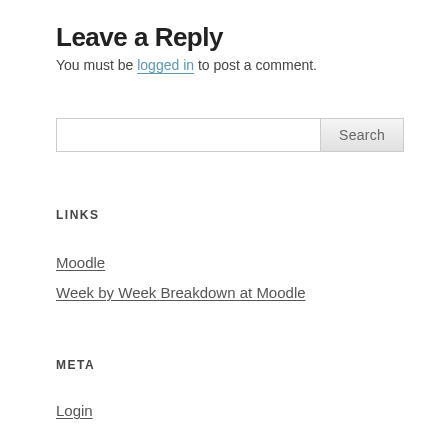Leave a Reply
You must be logged in to post a comment.
LINKS
Moodle
Week by Week Breakdown at Moodle
META
Login
Entries feed
Comments feed